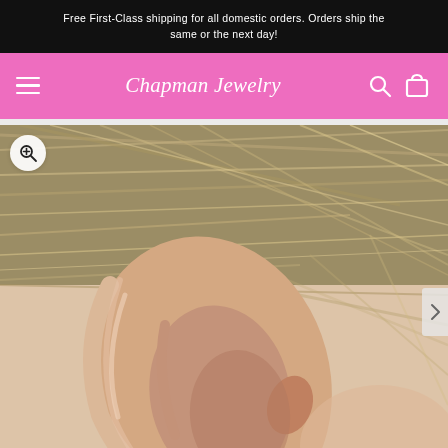Free First-Class shipping for all domestic orders. Orders ship the same or the next day!
Chapman Jewelry
[Figure (photo): Close-up photo of a human ear with blonde hair in background, showing a clean ear with no visible earring, used as a product display image for jewelry. A magnifying glass zoom icon appears in the top left corner of the image.]